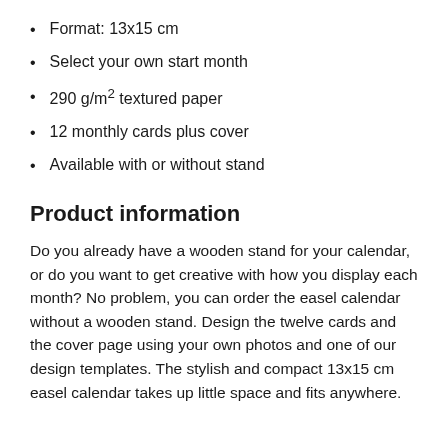Format: 13x15 cm
Select your own start month
290 g/m² textured paper
12 monthly cards plus cover
Available with or without stand
Product information
Do you already have a wooden stand for your calendar, or do you want to get creative with how you display each month? No problem, you can order the easel calendar without a wooden stand. Design the twelve cards and the cover page using your own photos and one of our design templates. The stylish and compact 13x15 cm easel calendar takes up little space and fits anywhere.